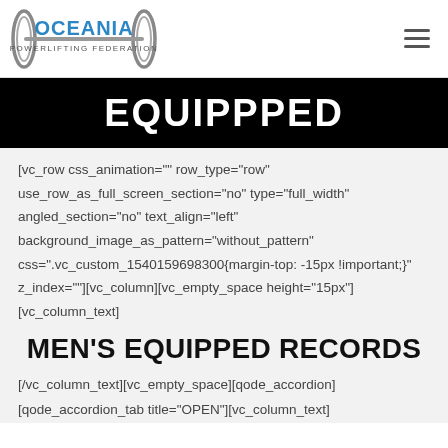Oceania Powerlifting Federation
EQUIPPPED
[vc_row css_animation="" row_type="row" use_row_as_full_screen_section="no" type="full_width" angled_section="no" text_align="left" background_image_as_pattern="without_pattern" css=".vc_custom_1540159698300{margin-top: -15px !important;}" z_index=""][vc_column][vc_empty_space height="15px"] [vc_column_text]
MEN'S EQUIPPED RECORDS
[/vc_column_text][vc_empty_space][qode_accordion] [qode_accordion_tab title="OPEN"][vc_column_text]